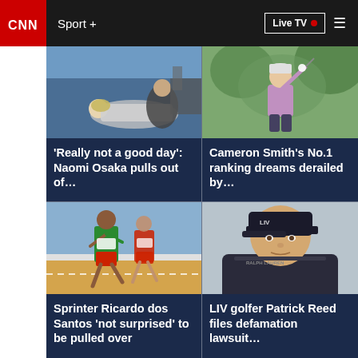CNN Sport + | Live TV
[Figure (photo): Photo of Naomi Osaka incident at a sports event]
'Really not a good day': Naomi Osaka pulls out of…
[Figure (photo): Photo of Cameron Smith swinging a golf club]
Cameron Smith's No.1 ranking dreams derailed by…
[Figure (photo): Photo of sprinter Ricardo dos Santos running on track]
Sprinter Ricardo dos Santos 'not surprised' to be pulled over
[Figure (photo): Photo of LIV golfer Patrick Reed wearing a cap]
LIV golfer Patrick Reed files defamation lawsuit…